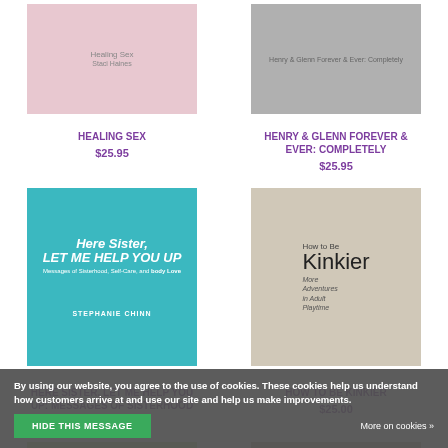[Figure (photo): Book cover for Healing Sex]
[Figure (photo): Book cover for Henry & Glenn Forever & Ever: Completely]
HEALING SEX
HENRY & GLENN FOREVER & EVER: COMPLETELY
$25.95
$25.95
[Figure (photo): Book cover: Here Sister, Let Me Help You Up - Messages of Sisterhood, Self-Care, and Body Love by Stephanie Chinn]
[Figure (photo): Book cover: How to Be Kinkier - More Adventures in Adult Playtime]
HERE SISTER, LET ME HELP YOU UP: MESSAGES OF SISTERHOOD
HOW TO BE KINKIER
$16.95
$25.00
[Figure (photo): Partial book cover at bottom left - HOW TO text visible]
[Figure (photo): Partial book cover at bottom right]
By using our website, you agree to the use of cookies. These cookies help us understand how customers arrive at and use our site and help us make improvements.
HIDE THIS MESSAGE
More on cookies »